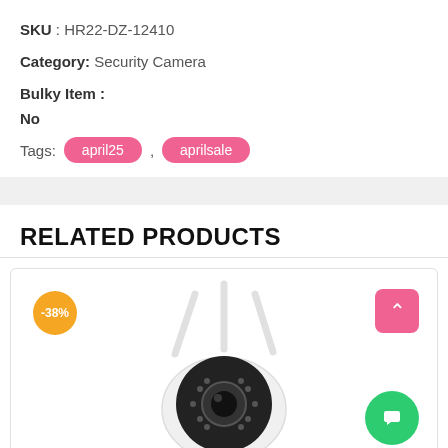SKU : HR22-DZ-12410
Category: Security Camera
Bulky Item :
No
Tags: april25 , aprilsale
RELATED PRODUCTS
[Figure (photo): Security camera product photo with three antennas, circular lens body, with a -38% discount badge in orange, a pink scroll-up button, and a green chat button.]